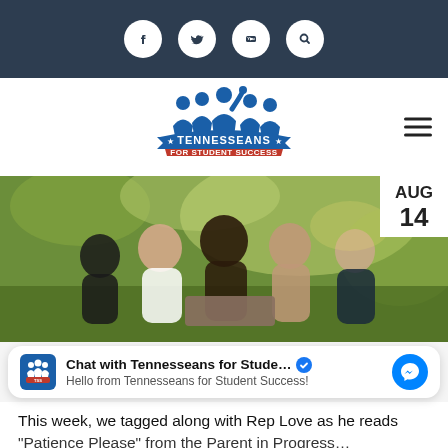Social media icons: Facebook, Twitter, YouTube, Search
[Figure (logo): Tennesseans for Student Success logo with children silhouettes and banner]
[Figure (photo): Children sitting together outdoors reading a book, in a sunny green park setting. Date badge shows AUG 14.]
Chat with Tennesseans for Stude... Hello from Tennesseans for Student Success!
This week, we tagged along with Rep Love as he reads "Patience Please" from the Parent in Progress...